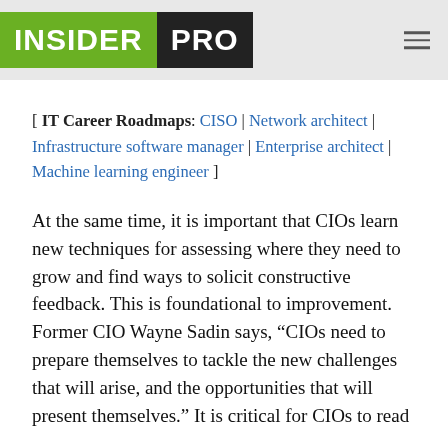INSIDER PRO
[ IT Career Roadmaps: CISO | Network architect | Infrastructure software manager | Enterprise architect | Machine learning engineer ]
At the same time, it is important that CIOs learn new techniques for assessing where they need to grow and find ways to solicit constructive feedback. This is foundational to improvement. Former CIO Wayne Sadin says, “CIOs need to prepare themselves to tackle the new challenges that will arise, and the opportunities that will present themselves.” It is critical for CIOs to read